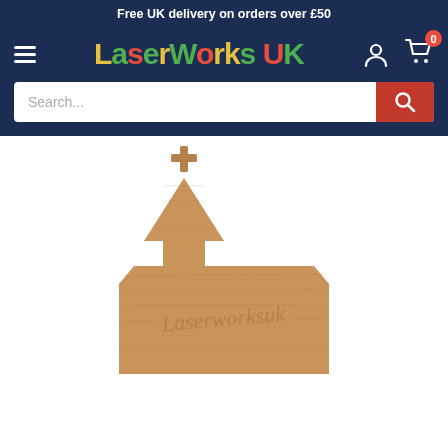Free UK delivery on orders over £50
[Figure (logo): LaserWorks UK logo with multicoloured text on dark navy background, with hamburger menu icon on left and user/cart icons on right]
Search...
[Figure (photo): MDF laser-cut church/chapel shape with cross on top, showing LaserworksUK watermark engraved on the wooden piece, white background]